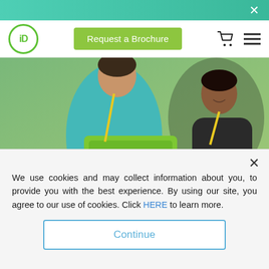×
[Figure (photo): Two children outdoors, one in teal/aqua hoodie holding a green laptop, another child in black shirt beside them, green background]
Visit the iD Tech blog
We use cookies and may collect information about you, to provide you with the best experience. By using our site, you agree to our use of cookies. Click HERE to learn more.
Continue